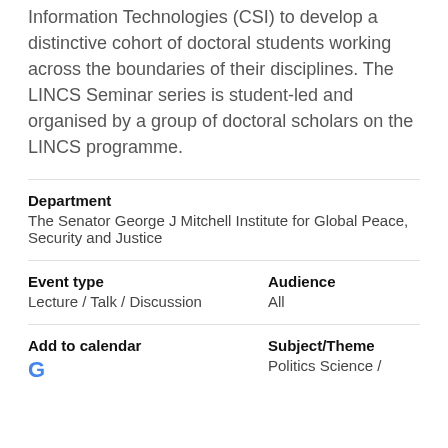Information Technologies (CSI) to develop a distinctive cohort of doctoral students working across the boundaries of their disciplines. The LINCS Seminar series is student-led and organised by a group of doctoral scholars on the LINCS programme.
Department
The Senator George J Mitchell Institute for Global Peace, Security and Justice
Event type
Lecture / Talk / Discussion
Audience
All
Add to calendar
G
Subject/Theme
Politics Science /